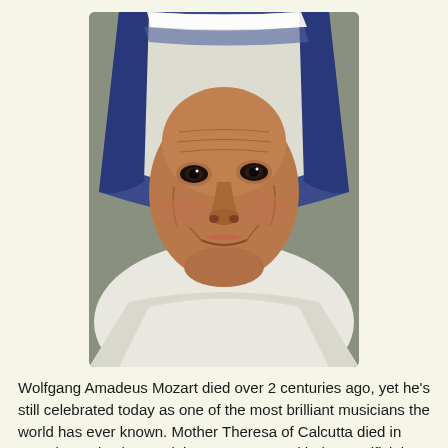[Figure (photo): Close-up portrait photograph of an elderly nun wearing a white and blue-striped habit (Mother Teresa of Calcutta), looking slightly to the side with a gentle expression.]
Wolfgang Amadeus Mozart died over 2 centuries ago, yet he's still celebrated today as one of the most brilliant musicians the world has ever known. Mother Theresa of Calcutta died in 1997 but today her work is synonymous with the sacrificial giving of one's life for the advancement of others. Martin Luther King died the year before I was born yet the dream about which he spoke still lives on today